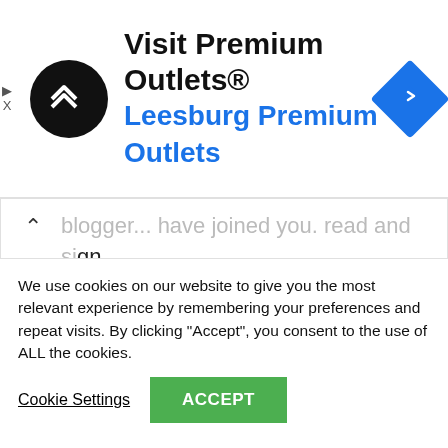[Figure (infographic): Advertisement banner for Visit Premium Outlets® / Leesburg Premium Outlets with logo and navigation icon]
...blogger...have joined you. read and sign up for in quest of more of your wonderful post. Also, I have shared your website in my social networks

Also visit my blog post: Clubriders.Men
We use cookies on our website to give you the most relevant experience by remembering your preferences and repeat visits. By clicking "Accept", you consent to the use of ALL the cookies.
Cookie Settings   ACCEPT